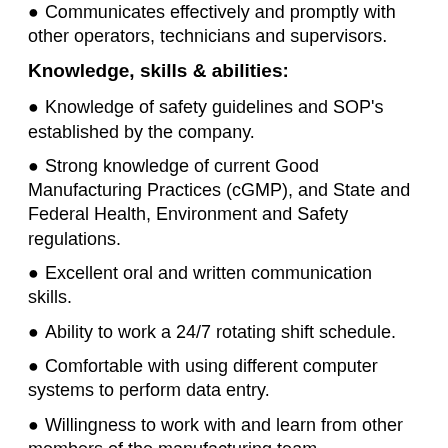Communicates effectively and promptly with other operators, technicians and supervisors.
Knowledge, skills & abilities:
Knowledge of safety guidelines and SOP's established by the company.
Strong knowledge of current Good Manufacturing Practices (cGMP), and State and Federal Health, Environment and Safety regulations.
Excellent oral and written communication skills.
Ability to work a 24/7 rotating shift schedule.
Comfortable with using different computer systems to perform data entry.
Willingness to work with and learn from other members of the manufacturing team.